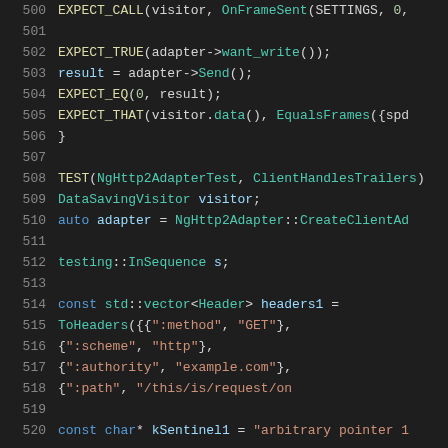[Figure (screenshot): Source code listing lines 500-520 showing C++ test code with syntax highlighting on dark background. Functions include EXPECT_CALL, EXPECT_TRUE, EXPECT_EQ, EXPECT_THAT, TEST(NghHttp2AdapterTest, ClientHandlesTrailers), and variable declarations including DataSavingVisitor, adapter, testing::InSequence, headers1, and kSentinel1.]